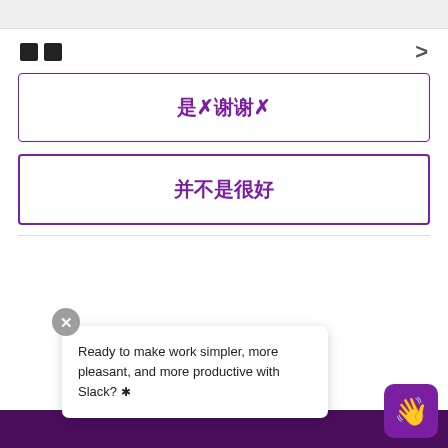[Figure (screenshot): Top navigation bar with grey background]
□□
>
是，谢谢！
并不是很好
Ready to make work simpler, more pleasant, and more productive with Slack? ✳